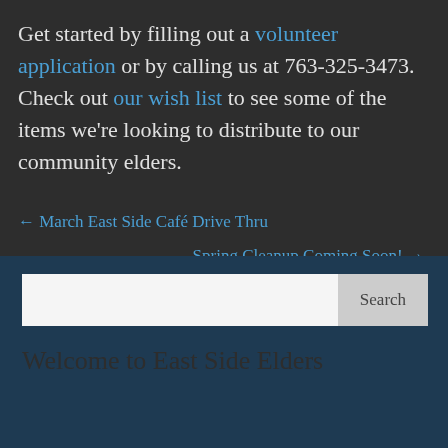Get started by filling out a volunteer application or by calling us at 763-325-3473. Check out our wish list to see some of the items we're looking to distribute to our community elders.
← March East Side Café Drive Thru
Spring Cleanup Coming Soon! →
[Figure (screenshot): Search bar with text input and Search button, inside a dark blue sidebar box]
Welcome to East Side Elders